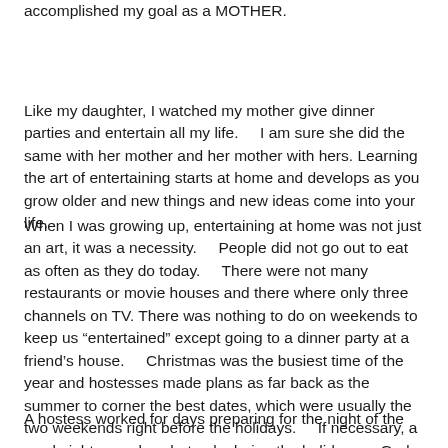accomplished my goal as a MOTHER.
Like my daughter, I watched my mother give dinner parties and entertain all my life.    I am sure she did the same with her mother and her mother with hers. Learning the art of entertaining starts at home and develops as you grow older and new things and new ideas come into your life.
When I was growing up, entertaining at home was not just an art, it was a necessity.    People did not go out to eat as often as they do today.    There were not many restaurants or movie houses and there where only three channels on TV.  There was nothing to do on weekends to keep us "entertained" except going to a dinner party at a friend's house.    Christmas was the busiest time of the year and hostesses made plans as far back as the summer to corner the best dates, which were usually the two weekends right before the holidays.    If necessary, a weeknight was okay, but only during the holidays    God forbid you planned a party mid week any other time of the year.
A hostess worked for days preparing for the night of the party starting with choosing the guest list and hiring the